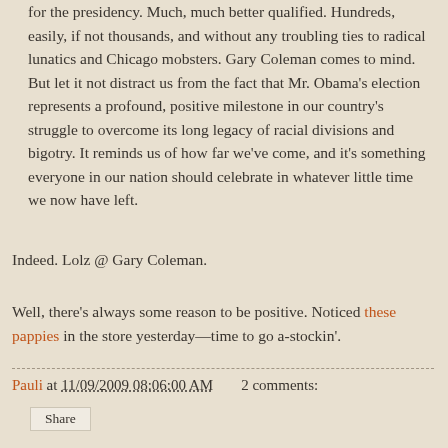for the presidency. Much, much better qualified. Hundreds, easily, if not thousands, and without any troubling ties to radical lunatics and Chicago mobsters. Gary Coleman comes to mind. But let it not distract us from the fact that Mr. Obama's election represents a profound, positive milestone in our country's struggle to overcome its long legacy of racial divisions and bigotry. It reminds us of how far we've come, and it's something everyone in our nation should celebrate in whatever little time we now have left.
Indeed. Lolz @ Gary Coleman.
Well, there's always some reason to be positive. Noticed these pappies in the store yesterday—time to go a-stockin'.
Pauli at 11/09/2009 08:06:00 AM    2 comments:
Share